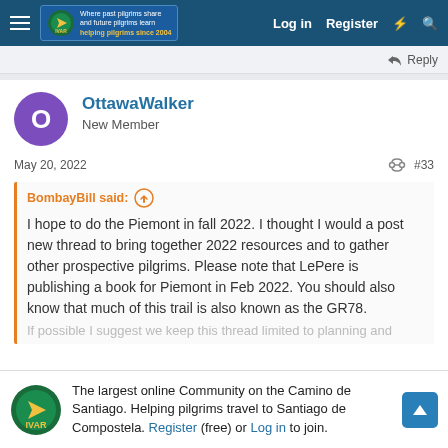Navigation bar with logo, Log in, Register links
Reply
OttawaWalker
New Member
May 20, 2022   #33
BombayBill said: ↑

I hope to do the Piemont in fall 2022. I thought I would a post new thread to bring together 2022 resources and to gather other prospective pilgrims. Please note that LePere is publishing a book for Piemont in Feb 2022. You should also know that much of this trail is also known as the GR78.

If possible I suggest we keep this thread limited to planning and
The largest online Community on the Camino de Santiago. Helping pilgrims travel to Santiago de Compostela. Register (free) or Log in to join.